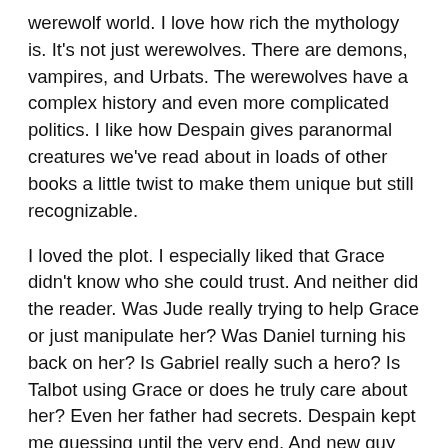werewolf world. I love how rich the mythology is. It's not just werewolves. There are demons, vampires, and Urbats. The werewolves have a complex history and even more complicated politics. I like how Despain gives paranormal creatures we've read about in loads of other books a little twist to make them unique but still recognizable.
I loved the plot. I especially liked that Grace didn't know who she could trust. And neither did the reader. Was Jude really trying to help Grace or just manipulate her? Was Daniel turning his back on her? Is Gabriel really such a hero? Is Talbot using Grace or does he truly care about her? Even her father had secrets. Despain kept me guessing until the very end. And new guy Talbot is really cool. Sexy, handsome, a fighter. He comes off as less emo than Daniel. And he doesn't assume that Grace will break if she tries to increase her powers.
My other major complaint (well, it's kind of petty) was the setting. The book is set just outside of Minneapolis in a small made-up town called Rose Crest. Rose Crest is near a slightly larger town called Apple Valley. I used to lived literally